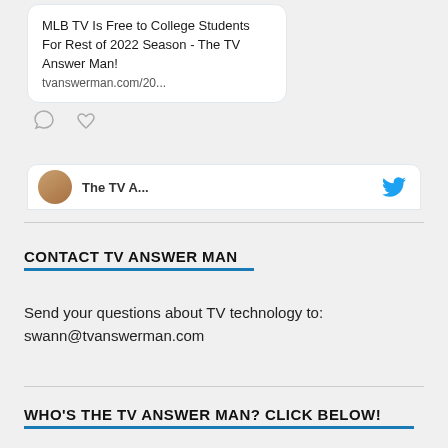[Figure (screenshot): A Twitter/social media card showing a link preview: 'MLB TV Is Free to College Students For Rest of 2022 Season - The TV Answer Man! tvanswerman.com/20...' with comment and heart icons below, and a partial next tweet card at the bottom with an avatar and partial name 'The TV A...' with a blue Twitter bird icon.]
CONTACT TV ANSWER MAN
Send your questions about TV technology to: swann@tvanswerman.com
WHO'S THE TV ANSWER MAN? CLICK BELOW!